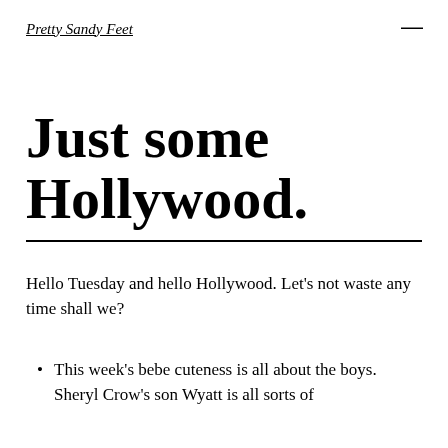Pretty Sandy Feet
Just some Hollywood.
Hello Tuesday and hello Hollywood. Let's not waste any time shall we?
This week's bebe cuteness is all about the boys. Sheryl Crow's son Wyatt is all sorts of